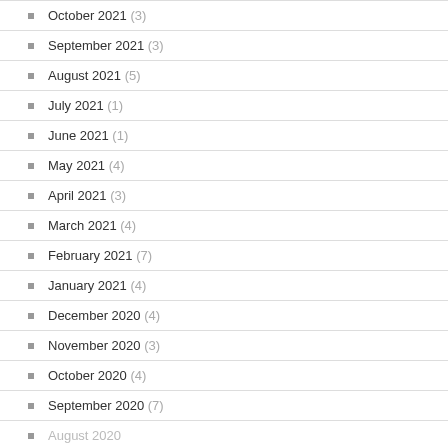October 2021 (3)
September 2021 (3)
August 2021 (5)
July 2021 (1)
June 2021 (1)
May 2021 (4)
April 2021 (3)
March 2021 (4)
February 2021 (7)
January 2021 (4)
December 2020 (4)
November 2020 (3)
October 2020 (4)
September 2020 (7)
August 2020 (?)